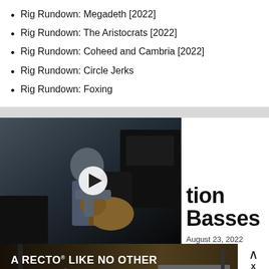Rig Rundown: Megadeth [2022]
Rig Rundown: The Aristocrats [2022]
Rig Rundown: Coheed and Cambria [2022]
Rig Rundown: Circle Jerks
Rig Rundown: Foxing
[Figure (screenshot): Video thumbnail showing a guitarist playing a guitar in a studio with amplifiers in the background, with a white play button overlay]
tion Basses
August 23, 2022
[Figure (photo): Mesa/Boogie advertisement for the Badlander Series. Text reads: A RECTO LIKE NO OTHER, THE BADLANDER SERIES, LEARN MORE button, MESA/BOOGIE logo. Shows guitar and amplifier head.]